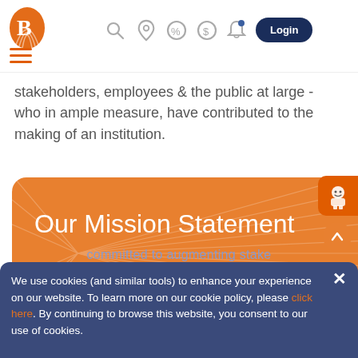[Figure (logo): Bank of Baroda orange shell/flame logo in top left]
[Figure (screenshot): Navigation bar with hamburger menu, search, location, percent, dollar, notification icons, and Login button]
stakeholders, employees & the public at large - who in ample measure, have contributed to the making of an institution.
[Figure (illustration): Orange banner with radiating lines background and text 'Our Mission Statement']
We use cookies (and similar tools) to enhance your experience on our website. To learn more on our cookie policy, please click here. By continuing to browse this website, you consent to our use of cookies.
committed to augmenting stake